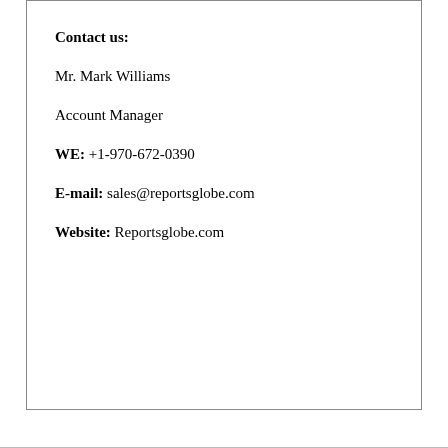Contact us:
Mr. Mark Williams
Account Manager
WE: +1-970-672-0390
E-mail: sales@reportsglobe.com
Website: Reportsglobe.com